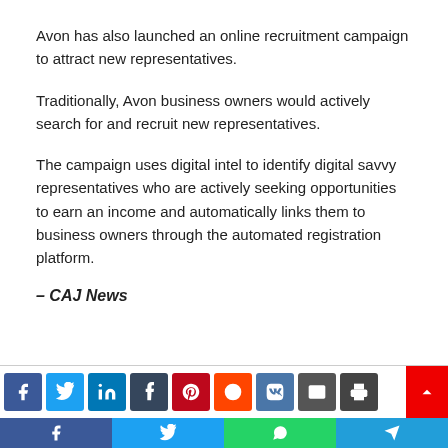Avon has also launched an online recruitment campaign to attract new representatives.
Traditionally, Avon business owners would actively search for and recruit new representatives.
The campaign uses digital intel to identify digital savvy representatives who are actively seeking opportunities to earn an income and automatically links them to business owners through the automated registration platform.
– CAJ News